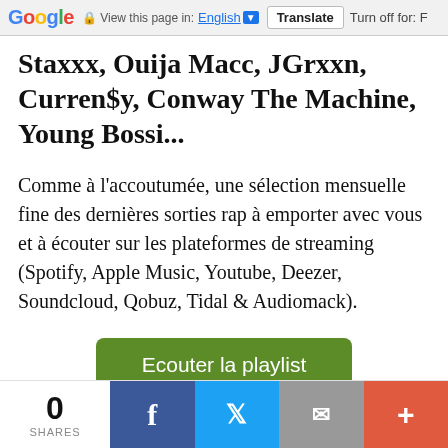Google  View this page in: English  Translate  Turn off for: F
Staxxx, Ouija Macc, JGrxxn, Curren$y, Conway The Machine, Young Bossi...
Comme à l'accoutumée, une sélection mensuelle fine des dernières sorties rap à emporter avec vous et à écouter sur les plateformes de streaming (Spotify, Apple Music, Youtube, Deezer, Soundcloud, Qobuz, Tidal & Audiomack).
Ecouter la playlist
0 SHARES  [Facebook] [Twitter] [Mail] [+]